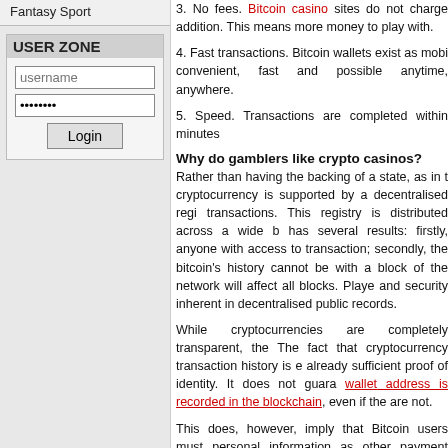Fantasy Sport
USER ZONE
username (input field)
password (input field)
Login (button)
3. No fees. Bitcoin casino sites do not charge additional. This means more money to play with.
4. Fast transactions. Bitcoin wallets exist as mobile, convenient, fast and possible anytime, anywhere.
5. Speed. Transactions are completed within minutes
Why do gamblers like crypto casinos?
Rather than having the backing of a state, as in the cryptocurrency is supported by a decentralised registry of transactions. This registry is distributed across a wide base has several results: firstly, anyone with access to transaction; secondly, the bitcoin's history cannot be with a block of the network will affect all blocks. Players and security inherent in decentralised public records.
While cryptocurrencies are completely transparent, the The fact that cryptocurrency transaction history is enough already sufficient proof of identity. It does not guarantee wallet address is recorded in the blockchain, even if the are not.
This does, however, imply that Bitcoin users must personal information as other payment methods. However, casinos demand no more information from players address.
The terms cryptocurrency and blockchain are coming...